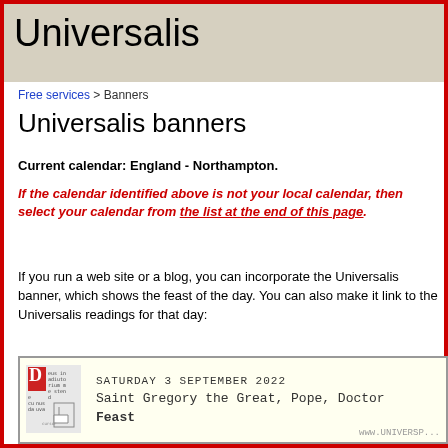Universalis
Free services > Banners
Universalis banners
Current calendar: England - Northampton.
If the calendar identified above is not your local calendar, then select your calendar from the list at the end of this page.
If you run a web site or a blog, you can incorporate the Universalis banner, which shows the feast of the day. You can also make it link to the Universalis readings for that day:
[Figure (screenshot): Universalis banner showing SATURDAY 3 SEPTEMBER 2022, Saint Gregory the Great, Pope, Doctor, Feast, with a decorative letter D icon on the left and www.UNIVERSP... URL at bottom right]